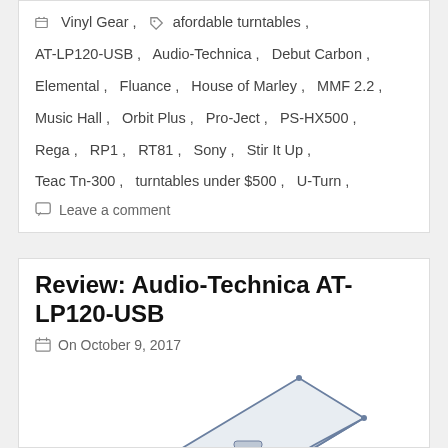Vinyl Gear, affordable turntables, AT-LP120-USB, Audio-Technica, Debut Carbon, Elemental, Fluance, House of Marley, MMF 2.2, Music Hall, Orbit Plus, Pro-Ject, PS-HX500, Rega, RP1, RT81, Sony, Stir It Up, Teac Tn-300, turntables under $500, U-Turn
Leave a comment
Review: Audio-Technica AT-LP120-USB
On October 9, 2017
[Figure (photo): Photo of Audio-Technica AT-LP120-USB turntable dust cover, white/light colored, viewed from above at an angle]